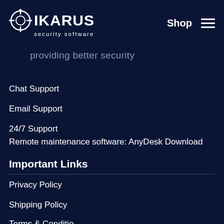[Figure (logo): IKARUS security software logo with crosshair/target icon and tagline 'providing better security']
Shop
Chat Support
Email Support
24/7 Support
Remote maintenance software: AnyDesk Download
Important Links
Privacy Policy
Shipping Policy
Terms & Conditions (partial)